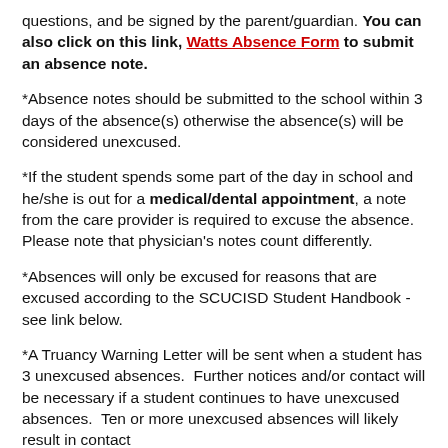questions, and be signed by the parent/guardian. You can also click on this link, Watts Absence Form to submit an absence note.
*Absence notes should be submitted to the school within 3 days of the absence(s) otherwise the absence(s) will be considered unexcused.
*If the student spends some part of the day in school and he/she is out for a medical/dental appointment, a note from the care provider is required to excuse the absence. Please note that physician's notes count differently.
*Absences will only be excused for reasons that are excused according to the SCUCISD Student Handbook - see link below.
*A Truancy Warning Letter will be sent when a student has 3 unexcused absences. Further notices and/or contact will be necessary if a student continues to have unexcused absences. Ten or more unexcused absences will likely result in contact